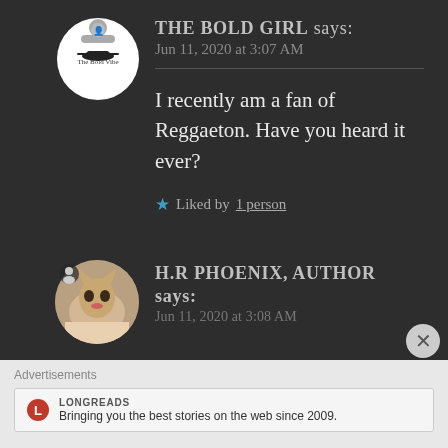THE BOLD GIRL says:
Jun 11, 2020 at 3:07 AM
I recently am a fan of Reggaeton. Have you heard it ever?
★ Liked by 1 person
H.R PHOENIX, AUTHOR says:
Jun 11, 2020 at 3:08 AM
Advertisements
[Figure (logo): Longreads logo with red circle L and text: LONGREADS. Bringing you the best stories on the web since 2009.]